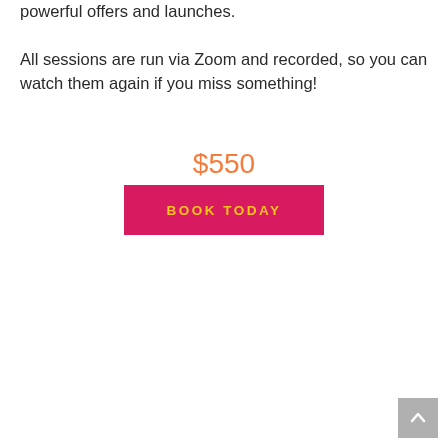powerful offers and launches.
All sessions are run via Zoom and recorded, so you can watch them again if you miss something!
$550
BOOK TODAY
[Figure (other): Scroll to top button arrow]